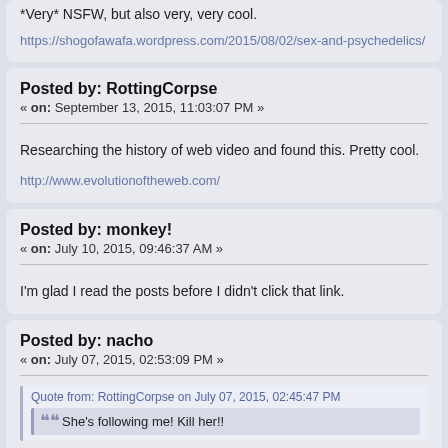*Very* NSFW, but also very, very cool.
https://shogofawafa.wordpress.com/2015/08/02/sex-and-psychedelics/
Posted by: RottingCorpse
« on: September 13, 2015, 11:03:07 PM »
Researching the history of web video and found this. Pretty cool.
http://www.evolutionoftheweb.com/
Posted by: monkey!
« on: July 10, 2015, 09:46:37 AM »
I'm glad I read the posts before I didn't click that link.
Posted by: nacho
« on: July 07, 2015, 02:53:09 PM »
Quote from: RottingCorpse on July 07, 2015, 02:45:47 PM
She's following me! Kill her!!